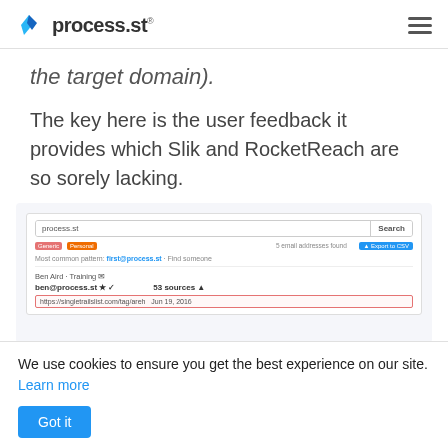process.st
the target domain).
The key here is the user feedback it provides which Slik and RocketReach are so sorely lacking.
[Figure (screenshot): Screenshot of process.st email finder tool showing a search for process.st with results including ben@process.st, with Generic and Personal filters and Export to CSV option]
We use cookies to ensure you get the best experience on our site. Learn more
Got it